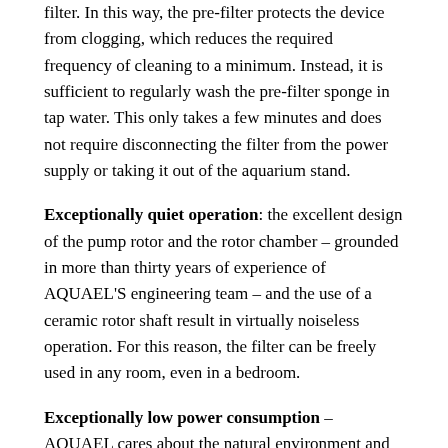filter. In this way, the pre-filter protects the device from clogging, which reduces the required frequency of cleaning to a minimum. Instead, it is sufficient to regularly wash the pre-filter sponge in tap water. This only takes a few minutes and does not require disconnecting the filter from the power supply or taking it out of the aquarium stand.
Exceptionally quiet operation: the excellent design of the pump rotor and the rotor chamber – grounded in more than thirty years of experience of AQUAEL'S engineering team – and the use of a ceramic rotor shaft result in virtually noiseless operation. For this reason, the filter can be freely used in any room, even in a bedroom.
Exceptionally low power consumption – AQUAEL cares about the natural environment and helps its customers save money. That is why the innovative ULTRAMAX filters consume very little energy, which means lower electricity bills for aquarium keepers. The ULTRAMAX 2000 model